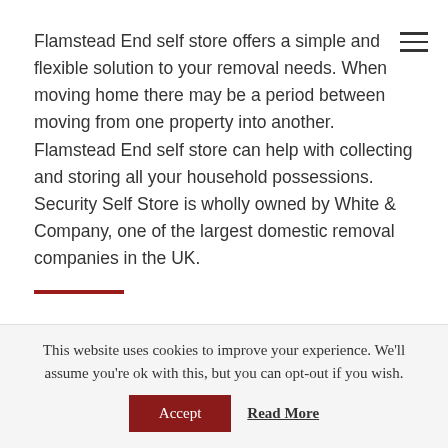Flamstead End self store offers a simple and flexible solution to your removal needs. When moving home there may be a period between moving from one property into another. Flamstead End self store can help with collecting and storing all your household possessions. Security Self Store is wholly owned by White & Company, one of the largest domestic removal companies in the UK.
CHOOSING A LOCAL REMOVAL COMPANY
This website uses cookies to improve your experience. We'll assume you're ok with this, but you can opt-out if you wish.